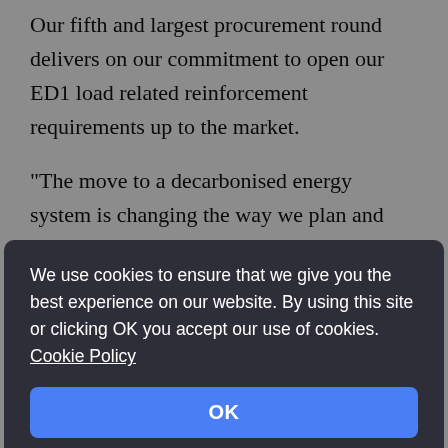Our fifth and largest procurement round delivers on our commitment to open our ED1 load related reinforcement requirements up to the market.
"The move to a decarbonised energy system is changing the way we plan and operate our network. Having flexibility in these areas is crucial in enabling enable us to optimise investment and respond
We use cookies to ensure that we give you the best experience on our website. By using this site or clicking OK you accept our use of cookies. Cookie Policy
OK
flexibility in contract, according to the company,